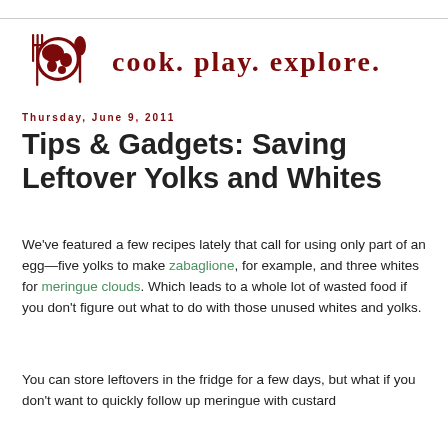[Figure (logo): Cook. play. explore. blog logo with globe flanked by fork and spoon in dark red, and text 'cook. play. explore.' in bold dark red serif font]
Thursday, June 9, 2011
Tips & Gadgets: Saving Leftover Yolks and Whites
We've featured a few recipes lately that call for using only part of an egg—five yolks to make zabaglione, for example, and three whites for meringue clouds. Which leads to a whole lot of wasted food if you don't figure out what to do with those unused whites and yolks.
You can store leftovers in the fridge for a few days, but what if you don't want to quickly follow up meringue with custard